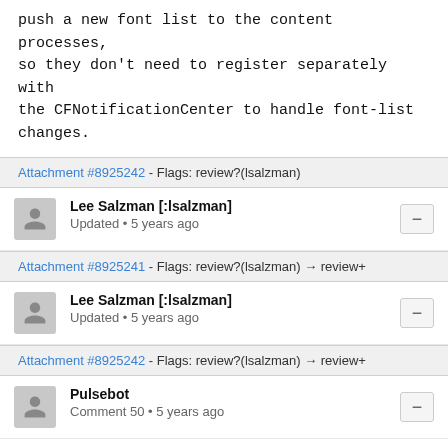push a new font list to the content processes, so they don't need to register separately with the CFNotificationCenter to handle font-list changes.
Attachment #8925242 - Flags: review?(lsalzman)
Lee Salzman [:lsalzman]
Updated • 5 years ago
Attachment #8925241 - Flags: review?(lsalzman) → review+
Lee Salzman [:lsalzman]
Updated • 5 years ago
Attachment #8925242 - Flags: review?(lsalzman) → review+
Pulsebot
Comment 50 • 5 years ago
Pushed by jkew@mozilla.com:
https://hg.mozilla.org/integration/mozilla-